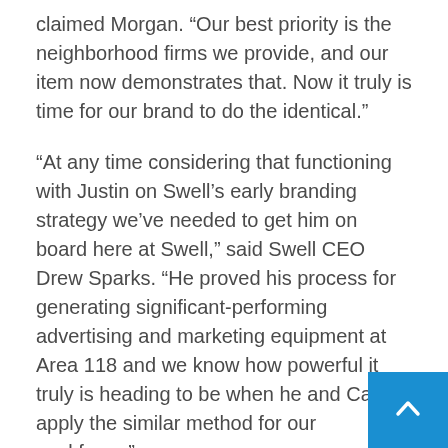claimed Morgan. “Our best priority is the neighborhood firms we provide, and our item now demonstrates that. Now it truly is time for our brand to do the identical.”
“At any time considering that functioning with Justin on Swell’s early branding strategy we’ve needed to get him on board here at Swell,” said Swell CEO Drew Sparks. “He proved his process for generating significant-performing advertising and marketing equipment at Area 118 and we know how powerful it truly is heading to be when he and Casey apply the similar method for our workforce.”
About Swell
Swell is a client practical experience system that empowers local firms to modernize their purchaser